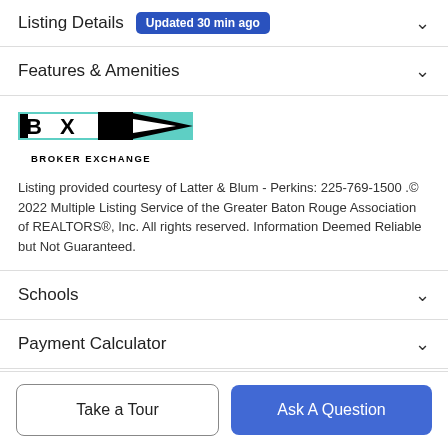Listing Details · Updated 30 min ago
Features & Amenities
[Figure (logo): Broker Exchange logo — BX arrow mark with 'BROKER EXCHANGE' text below]
Listing provided courtesy of Latter & Blum - Perkins: 225-769-1500 .© 2022 Multiple Listing Service of the Greater Baton Rouge Association of REALTORS®, Inc. All rights reserved. Information Deemed Reliable but Not Guaranteed.
Schools
Payment Calculator
Take a Tour
Ask A Question